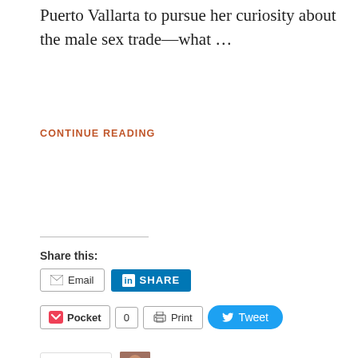Puerto Vallarta to pursue her curiosity about the male sex trade—what …
CONTINUE READING
Share this:
[Figure (screenshot): Share buttons row 1: Email button, LinkedIn Share button]
[Figure (screenshot): Share buttons row 2: Pocket button with count 0, Print button, Tweet button]
[Figure (screenshot): Like button with star icon and blogger avatar thumbnail. Text: One blogger likes this.]
AUGUST 29, 2017 | LYNDA FILLER | BOOK REVIEWS, BOOKS, FREE, NOVELS AND NOVELLAS
What Do You Mean It's Free